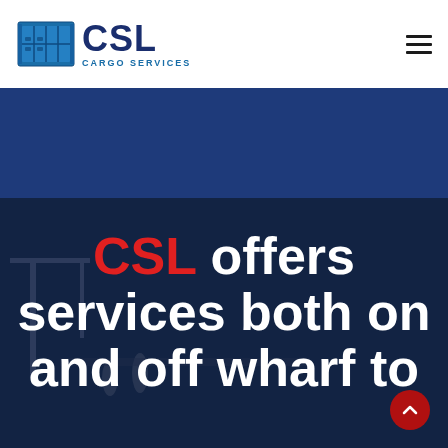[Figure (logo): CSL Cargo Services logo — blue shipping container icon on left, 'CSL' in large dark navy bold text, 'CARGO SERVICES' in smaller blue uppercase text below]
[Figure (photo): Navigation hamburger menu icon (three horizontal lines) in top right corner]
[Figure (photo): Dark blue solid banner section below the header]
[Figure (photo): Dark navy/blue hero section with dock/wharf background photo, overlay. Contains large headline text: 'CSL offers services both on and off wharf to' with CSL in red and the rest in white bold.]
CSL offers services both on and off wharf to